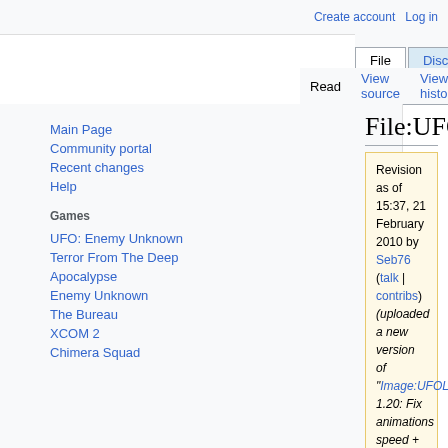Create account  Log in
File  Discussion
Read  View source  View history  Search UF
File:UFOLoader.zip
Revision as of 15:37, 21 February 2010 by Seb76 (talk | contribs) (uploaded a new version of "Image:UFOLoader.zip": 1.20: Fix animations speed + change general stores capacity)
(diff) ← Older revision | Latest revision (diff) | Newer revision → (diff)
Main Page
Community portal
Recent changes
Help
Games
UFO: Enemy Unknown
Terror From The Deep
Apocalypse
Enemy Unknown
The Bureau
XCOM 2
Chimera Squad
| File | File history | File usage |
| --- | --- | --- |
UFOLoader.zip (file size: 149 bytes, MIME type: application/zip)
Warning: This file type may contain malicious code. By executing it, your